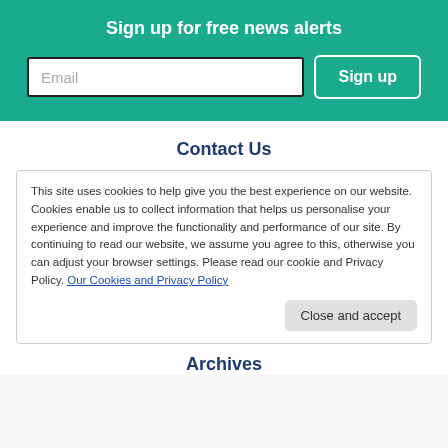Sign up for free news alerts
Email
Sign up
Contact Us
This site uses cookies to help give you the best experience on our website. Cookies enable us to collect information that helps us personalise your experience and improve the functionality and performance of our site. By continuing to read our website, we assume you agree to this, otherwise you can adjust your browser settings. Please read our cookie and Privacy Policy. Our Cookies and Privacy Policy
Close and accept
Archives